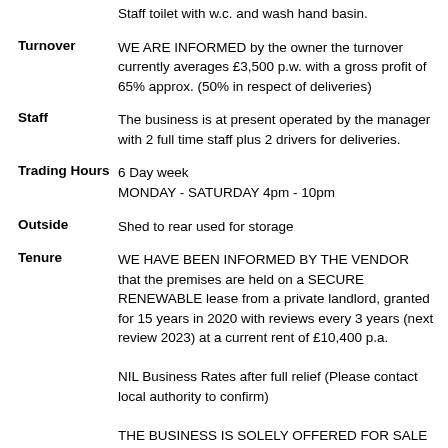Staff toilet with w.c. and wash hand basin.
Turnover: WE ARE INFORMED by the owner the turnover currently averages £3,500 p.w. with a gross profit of 65% approx. (50% in respect of deliveries)
Staff: The business is at present operated by the manager with 2 full time staff plus 2 drivers for deliveries.
Trading Hours: 6 Day week MONDAY - SATURDAY 4pm - 10pm
Outside: Shed to rear used for storage
Tenure: WE HAVE BEEN INFORMED BY THE VENDOR that the premises are held on a SECURE RENEWABLE lease from a private landlord, granted for 15 years in 2020 with reviews every 3 years (next review 2023) at a current rent of £10,400 p.a.

NIL Business Rates after full relief (Please contact local authority to confirm)

THE BUSINESS IS SOLELY OFFERED FOR SALE DUE TO THE VENDORS OTHER